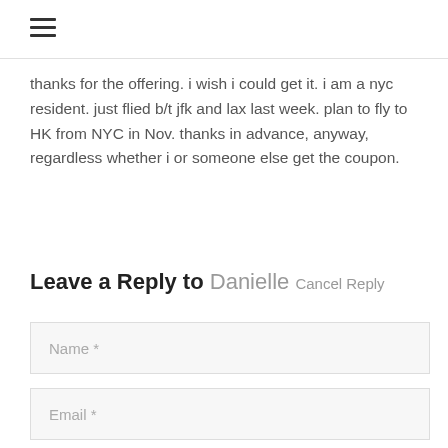≡
thanks for the offering. i wish i could get it. i am a nyc resident. just flied b/t jfk and lax last week. plan to fly to HK from NYC in Nov. thanks in advance, anyway, regardless whether i or someone else get the coupon.
Leave a Reply to Danielle Cancel Reply
Name *
Email *
Website